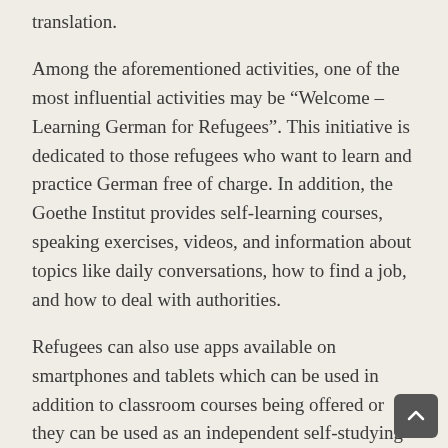translation.
Among the aforementioned activities, one of the most influential activities may be “Welcome – Learning German for Refugees”. This initiative is dedicated to those refugees who want to learn and practice German free of charge. In addition, the Goethe Institut provides self-learning courses, speaking exercises, videos, and information about topics like daily conversations, how to find a job, and how to deal with authorities.
Refugees can also use apps available on smartphones and tablets which can be used in addition to classroom courses being offered or they can be used as an independent self-studying tool. As reported on the Goethe Institut’s web site, many of the apps available for learning German include Ankommen App (an arrival app), Deutschtrainer A1, and The City of Words. All of the apps start at the A1 level, but they each deal with different